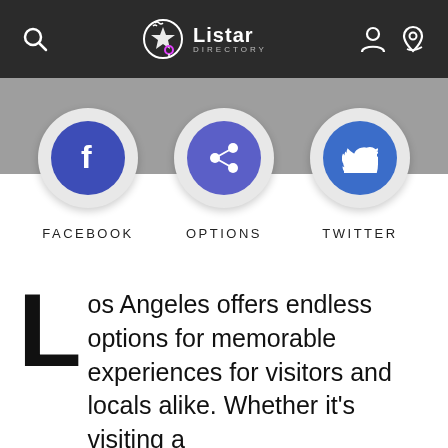Listar Directory
[Figure (other): Social sharing buttons: Facebook, Options (share), and Twitter icons in circular buttons with labels below]
Los Angeles offers endless options for memorable experiences for visitors and locals alike. Whether it's visiting a quiet museum, or attending a boisterous ball game, there are always many